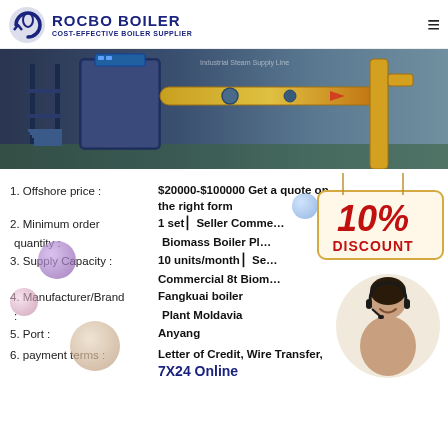[Figure (logo): Rocbo Boiler logo with circular icon and text 'ROCBO BOILER COST-EFFECTIVE BOILER SUPPLIER']
[Figure (photo): Industrial boiler manufacturing facility showing large blue boiler equipment with yellow piping and metal scaffolding]
1. Offshore price :    $20000-$100000 Get a quote on the right form
2. Minimum order quantity :    1 set │Seller Commercial Biomass Boiler Plant
3. Supply Capacity :    10 units/month │S... Commercial 8t Biomass...
4. Manufacturer/Brand :    Fangkuai boiler Plant Moldavia
5. Port :    Anyang
6. payment terms :    Letter of Credit, Wire Transfer, 7X24 Online